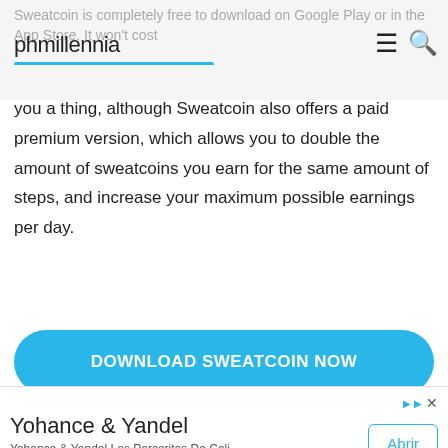phmillennia
you a thing, although Sweatcoin also offers a paid premium version, which allows you to double the amount of sweatcoins you earn for the same amount of steps, and increase your maximum possible earnings per day.
DOWNLOAD SWEATCOIN NOW
[Figure (screenshot): Advertisement banner for Yohance & Yandel with an Abrir button]